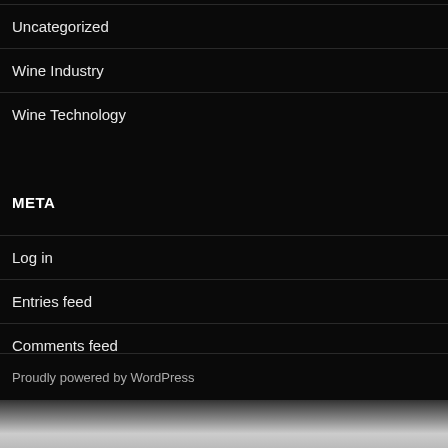Uncategorized
Wine Industry
Wine Technology
META
Log in
Entries feed
Comments feed
WordPress.org
Proudly powered by WordPress